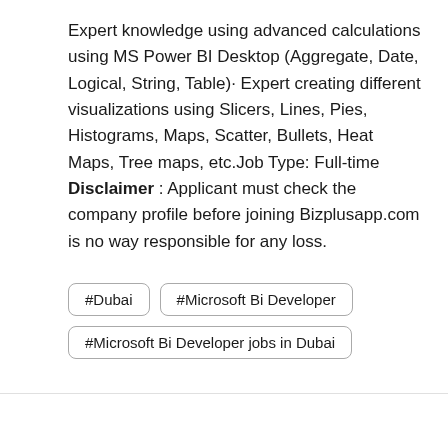Expert knowledge using advanced calculations using MS Power BI Desktop (Aggregate, Date, Logical, String, Table)· Expert creating different visualizations using Slicers, Lines, Pies, Histograms, Maps, Scatter, Bullets, Heat Maps, Tree maps, etc.Job Type: Full-time
Disclaimer : Applicant must check the company profile before joining Bizplusapp.com is no way responsible for any loss.
#Dubai
#Microsoft Bi Developer
#Microsoft Bi Developer jobs in Dubai